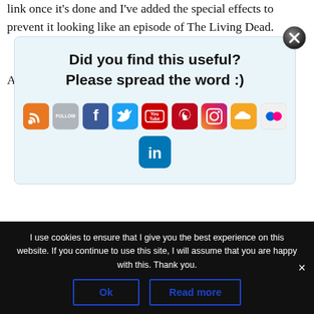link once it's done and I've added the special effects to prevent it looking like an episode of The Living Dead.
Anyway, around 10 minutes into the podcast, you
[Figure (infographic): Social sharing popup with title 'Did you find this useful? Please spread the word :)' and social media icons including RSS, Follow, Facebook, Twitter, YouTube, Pinterest, Instagram, SoundCloud, Flickr, and LinkedIn. Has a close (X) button in top-right corner.]
JANUARY 5, 2016 AT 3:52 PM
I use cookies to ensure that I give you the best experience on this website. If you continue to use this site, I will assume that you are happy with this. Thank you.
Ok
Read more